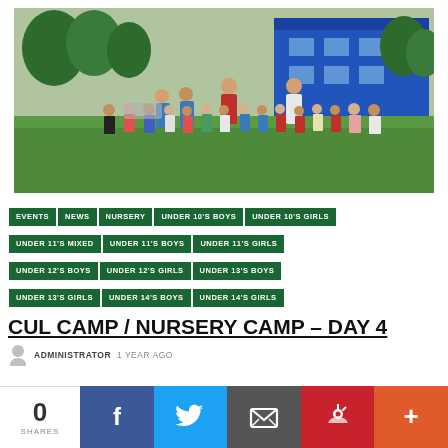[Figure (photo): Group photo of children and coaches/adults at a GAA Cul Camp / Nursery Camp outdoors on a grass field, with a blue building visible in the background.]
EVENTS
NEWS
NURSERY
UNDER 10'S BOYS
UNDER 10'S GIRLS
UNDER 11'S MIXED
UNDER 11'S BOYS
UNDER 11'S GIRLS
UNDER 12'S BOYS
UNDER 12'S GIRLS
UNDER 13'S BOYS
UNDER 13'S GIRLS
UNDER 14'S BOYS
UNDER 14'S GIRLS
CUL CAMP / NURSERY CAMP – DAY 4
ADMINISTRATOR   1 YEAR AGO
0 SHARES